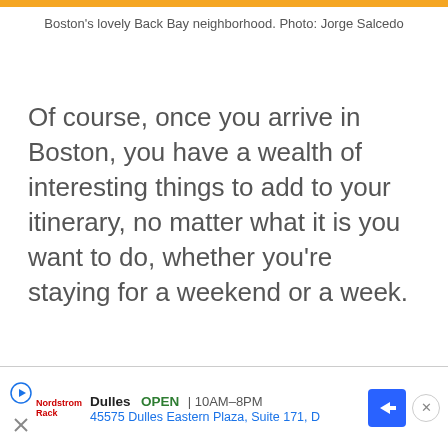Boston's lovely Back Bay neighborhood. Photo: Jorge Salcedo
Of course, once you arrive in Boston, you have a wealth of interesting things to add to your itinerary, no matter what it is you want to do, whether you’re staying for a weekend or a week.
[Figure (other): Advertisement banner for Dulles store: play icon, logo, store name, OPEN status, hours 10AM-8PM, address 45575 Dulles Eastern Plaza Suite 171 D, navigation arrow icon, close button]